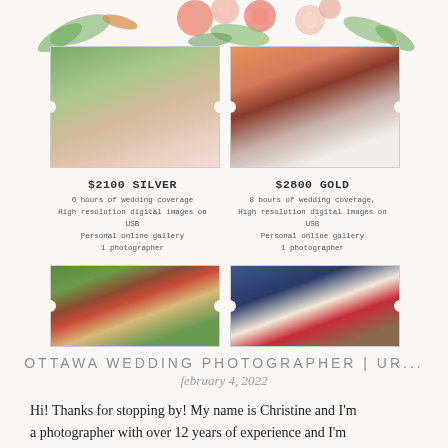[Figure (illustration): Floral watercolor header with pink and peach flowers and green leaves at the top of the page]
[Figure (photo): Wedding photo of bridesmaids in pink dresses holding white bouquets, outdoors with green trees]
[Figure (photo): Wedding photo of couple cutting a white tiered cake at sunset]
$2100 SILVER
6 hours of wedding coverage
High resolution digital images on USB
Personal online gallery
1 photographer
$2800 GOLD
8 hours of wedding coverage,
High resolution digital images on USB
Personal online gallery
1 photographer
[Figure (photo): Wedding couple in front of a red barn surrounded by greenery]
[Figure (photo): Groom in navy suit and bride holding red bouquet]
OTTAWA WEDDING PHOTOGRAPHER | UR...
february 4, 2022
Hi! Thanks for stopping by! My name is Christine and I'm a photographer with over 12 years of experience and I'm